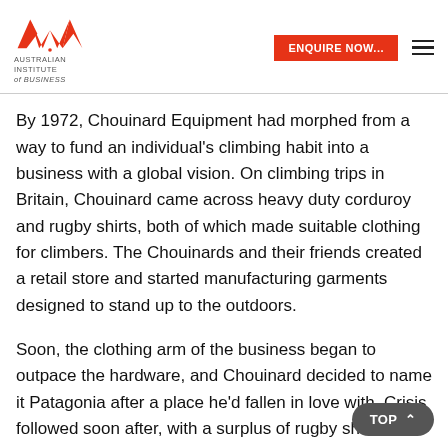Australian Institute of Business — ENQUIRE NOW...
By 1972, Chouinard Equipment had morphed from a way to fund an individual's climbing habit into a business with a global vision. On climbing trips in Britain, Chouinard came across heavy duty corduroy and rugby shirts, both of which made suitable clothing for climbers. The Chouinards and their friends created a retail store and started manufacturing garments designed to stand up to the outdoors.
Soon, the clothing arm of the business began to outpace the hardware, and Chouinard decided to name it Patagonia after a place he'd fallen in love with. Crisis followed soon after, with a surplus of rugby shirts from a Chinese factory proving to be poorly made and unsellable.